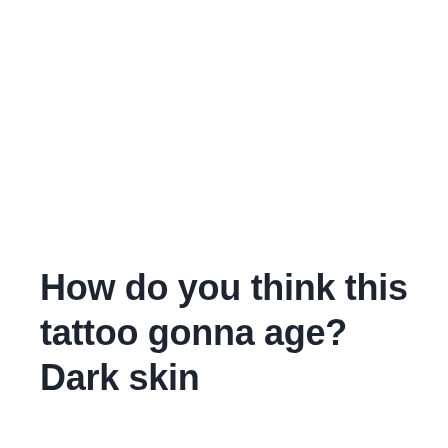How do you think this tattoo gonna age? Dark skin